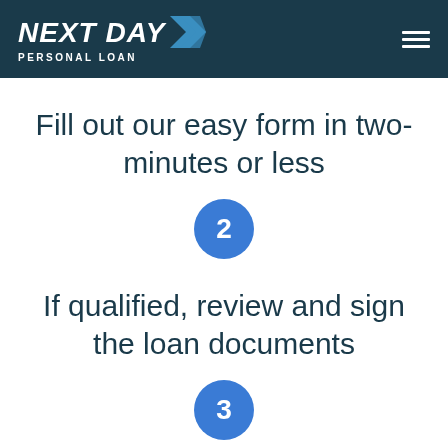[Figure (logo): Next Day Personal Loan logo with arrow icon and hamburger menu]
Fill out our easy form in two-minutes or less
2
If qualified, review and sign the loan documents
3
Get funds as soon as the next